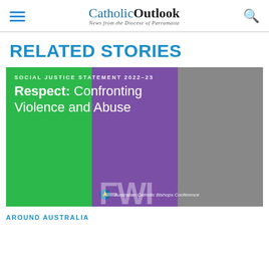CatholicOutlook — News from the Diocese of Parramatta
RELATED STORIES
[Figure (photo): Social Justice Statement 2022-23: Respect: Confronting Violence and Abuse — Australian Catholic Bishops Conference. Three women shown in green, purple, and grey-toned panels.]
AROUND AUSTRALIA